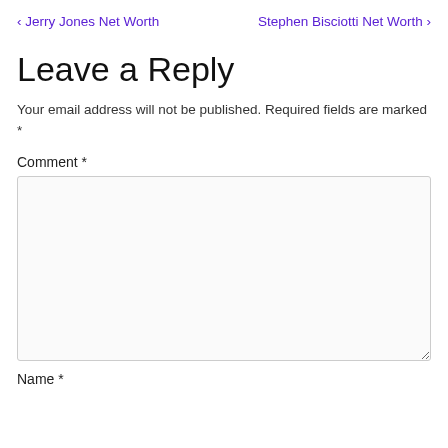< Jerry Jones Net Worth   Stephen Bisciotti Net Worth >
Leave a Reply
Your email address will not be published. Required fields are marked *
Comment *
Name *